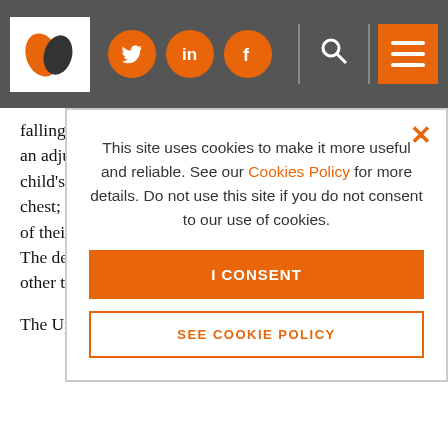Navigation header with logo, Twitter, LinkedIn, Facebook icons, search and menu
falling over or injuring themselves. The device consists of an adjustable adult hip belt; a harness that fits around the child's torso with fastenings at the shoulders, hips and chest; and special sandals that join the child's feet to those of their parents, so that the two can take steps in tandem. The design leaves all four hands free for play, balance or other tasks.
The Upsee is available in four colours, and uses stylish, d... re...
F...
A... so... p... w...
A... o... "...
This site uses cookies to make it more useful and reliable. See our Cookies Policy for more details. Do not use this site if you do not consent to our use of cookies.
I CONSENT
SEE COOKIE POLICY